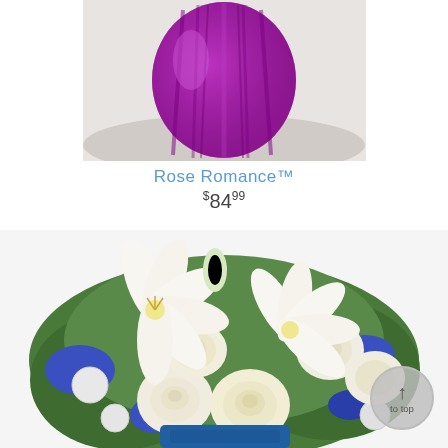[Figure (photo): Top portion of a product photo showing a purple/magenta round glass vase on a white surface, cropped at top]
Rose Romance™
$84.99
[Figure (photo): Floral bouquet arrangement with white roses, white lilies, white carnations, blue statice, and green foliage in a blue vase]
to top